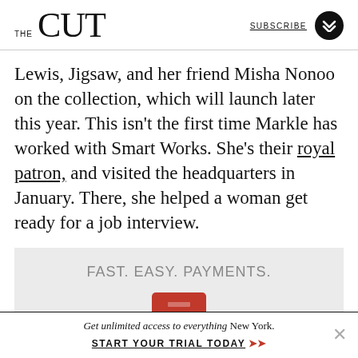THE CUT | SUBSCRIBE
Lewis, Jigsaw, and her friend Misha Nonoo on the collection, which will launch later this year. This isn't the first time Markle has worked with Smart Works. She's their royal patron, and visited the headquarters in January. There, she helped a woman get ready for a job interview.
[Figure (other): Advertisement banner with text 'FAST. EASY. PAYMENTS.' and a red credit card graphic on a light grey background]
Get unlimited access to everything New York. START YOUR TRIAL TODAY ➤➤